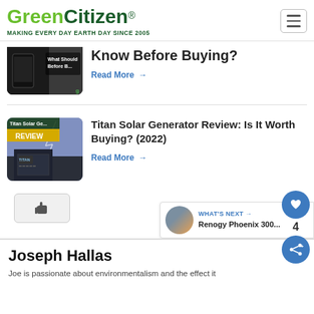GreenCitizen® MAKING EVERY DAY EARTH DAY SINCE 2005
[Figure (photo): Partially visible article thumbnail showing a device with text overlay 'What Should... Before Bu...']
Know Before Buying?
Read More →
[Figure (photo): Thumbnail for Titan Solar Generator review showing the generator unit against a stormy sky with 'Titan Solar Ge... REVIEW' overlay badge]
Titan Solar Generator Review: Is It Worth Buying? (2022)
Read More →
4
[Figure (screenshot): Like/thumbs-up button]
WHAT'S NEXT → Renogy Phoenix 300...
Joseph Hallas
Joe is passionate about environmentalism and the effect it